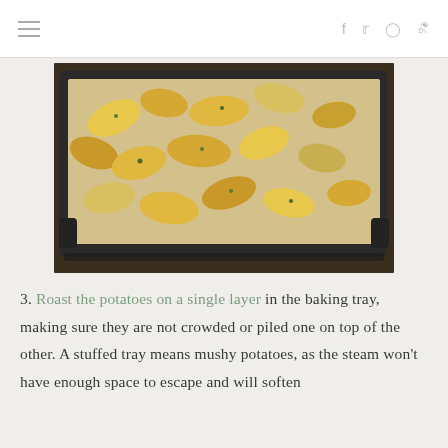☰  f  𝕥  ◻  ℗
[Figure (photo): Roasted potato wedges on a baking tray lined with parchment paper, garnished with herbs, viewed from above at an angle on a dark wooden surface.]
3. Roast the potatoes on a single layer in the baking tray, making sure they are not crowded or piled one on top of the other. A stuffed tray means mushy potatoes, as the steam won't have enough space to escape and will soften